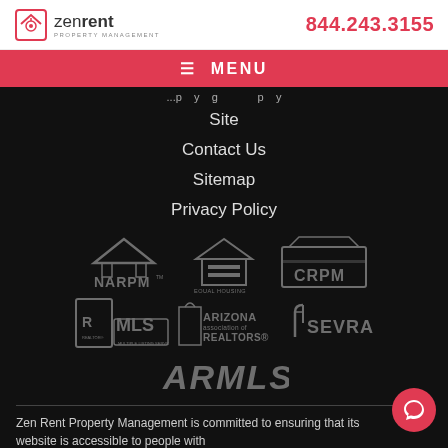zen rent PROPERTY MANAGEMENT | 844.243.3155
≡ MENU
Site
Contact Us
Sitemap
Privacy Policy
[Figure (logo): Organization logos: NARPM, Equal Housing Opportunity, CRPM, Realtor MLS, Arizona Realtors, SEVRAR, ARMLS]
Zen Rent Property Management is committed to ensuring that its website is accessible to people with